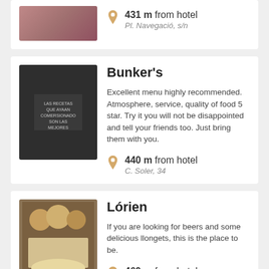[Figure (photo): Partial restaurant card at top with food photo thumbnail (cropped)]
431 m from hotel
Pl. Navegació, s/n
Bunker's
Excellent menu highly recommended. Atmosphere, service, quality of food 5 star. Try it you will not be disappointed and tell your friends too. Just bring them with you.
440 m from hotel
C. Soler, 34
Lórien
If you are looking for beers and some delicious llongets, this is the place to be.
469 m from hotel
C. de les Caputxines, 5